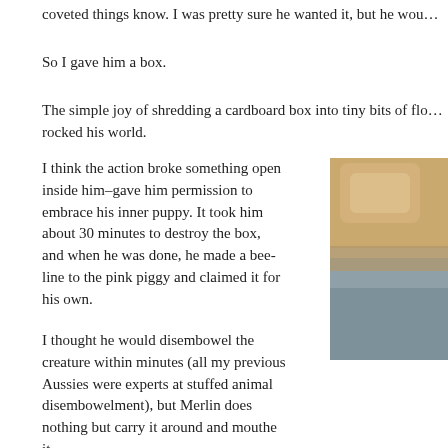coveted things know. I was pretty sure he wanted it, but he wou…
So I gave him a box.
The simple joy of shredding a cardboard box into tiny bits of flo… rocked his world.
I think the action broke something open inside him–gave him permission to embrace his inner puppy. It took him about 30 minutes to destroy the box, and when he was done, he made a bee-line to the pink piggy and claimed it for his own.
[Figure (photo): Photo of a dog resting on what appears to be a couch or cushioned surface, showing golden/tan fur and grey/blue fabric.]
I thought he would disembowel the creature within minutes (all my previous Aussies were experts at stuffed animal disembowelment), but Merlin does nothing but carry it around and mouthe it.